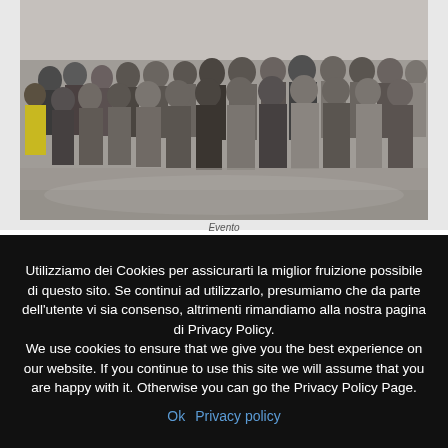[Figure (photo): Group photo of approximately 30 people standing in a row inside a building with a polished floor. Some wear name badges or lanyards. Shot is taken from a low angle.]
Evento
Utilizziamo dei Cookies per assicurarti la miglior fruizione possibile di questo sito. Se continui ad utilizzarlo, presumiamo che da parte dell'utente vi sia consenso, altrimenti rimandiamo alla nostra pagina di Privacy Policy.
We use cookies to ensure that we give you the best experience on our website. If you continue to use this site we will assume that you are happy with it. Otherwise you can go the Privacy Policy Page.
Ok   Privacy policy